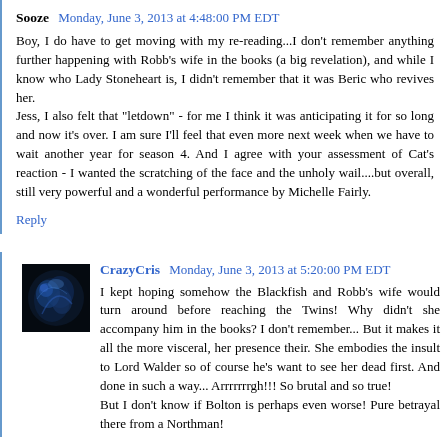Sooze  Monday, June 3, 2013 at 4:48:00 PM EDT
Boy, I do have to get moving with my re-reading...I don't remember anything further happening with Robb's wife in the books (a big revelation), and while I know who Lady Stoneheart is, I didn't remember that it was Beric who revives her.
Jess, I also felt that "letdown" - for me I think it was anticipating it for so long and now it's over. I am sure I'll feel that even more next week when we have to wait another year for season 4. And I agree with your assessment of Cat's reaction - I wanted the scratching of the face and the unholy wail....but overall, still very powerful and a wonderful performance by Michelle Fairly.
Reply
CrazyCris  Monday, June 3, 2013 at 5:20:00 PM EDT
I kept hoping somehow the Blackfish and Robb's wife would turn around before reaching the Twins! Why didn't she accompany him in the books? I don't remember... But it makes it all the more visceral, her presence their. She embodies the insult to Lord Walder so of course he's want to see her dead first. And done in such a way... Arrrrrrrgh!!! So brutal and so true!
But I don't know if Bolton is perhaps even worse! Pure betrayal there from a Northman!